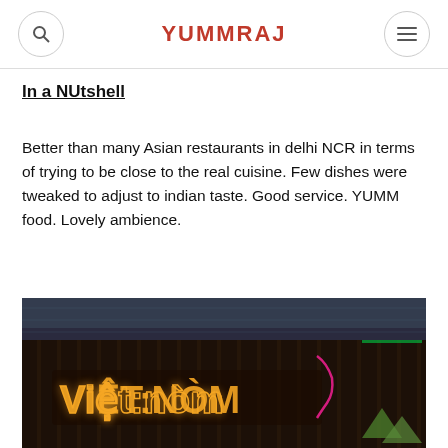YUMMRAJ
In a NUtshell
Better than many Asian restaurants in delhi NCR in terms of trying to be close to the real cuisine. Few dishes were tweaked to adjust to indian taste. Good service. YUMM food. Lovely ambience.
[Figure (photo): Exterior photo of Viet:Nom restaurant at night showing illuminated neon sign reading 'VIỆT:NÒM' on dark wooden paneling with glass facade in background]